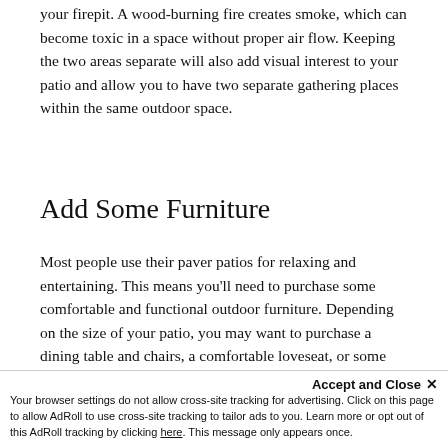your firepit. A wood-burning fire creates smoke, which can become toxic in a space without proper air flow. Keeping the two areas separate will also add visual interest to your patio and allow you to have two separate gathering places within the same outdoor space.
Add Some Furniture
Most people use their paver patios for relaxing and entertaining. This means you'll need to purchase some comfortable and functional outdoor furniture. Depending on the size of your patio, you may want to purchase a dining table and chairs, a comfortable loveseat, or some relaxing lounge chairs.
For sitting around the fire pit, we recommend foldable
they're lightweight, easy to m...
Accept and Close ✕
Your browser settings do not allow cross-site tracking for advertising. Click on this page to allow AdRoll to use cross-site tracking to tailor ads to you. Learn more or opt out of this AdRoll tracking by clicking here. This message only appears once.